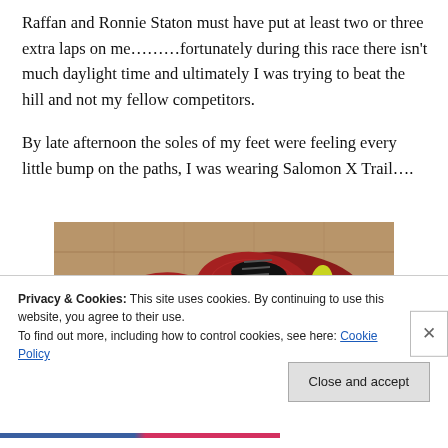Raffan and Ronnie Staton must have put at least two or three extra laps on me………fortunately during this race there isn't much daylight time and ultimately I was trying to beat the hill and not my fellow competitors.

By late afternoon the soles of my feet were feeling every little bump on the paths, I was wearing Salomon X Trail….
[Figure (photo): Photo of red Salomon X Trail running shoes placed on a wooden floor background, viewed from above at an angle.]
Privacy & Cookies: This site uses cookies. By continuing to use this website, you agree to their use.
To find out more, including how to control cookies, see here: Cookie Policy